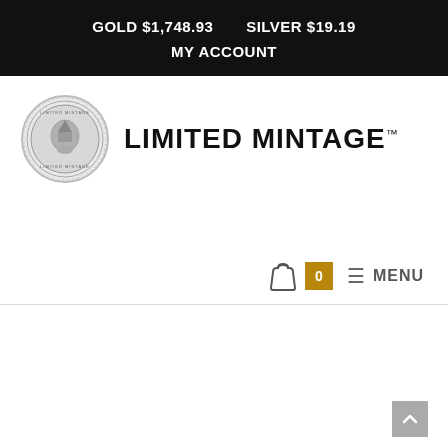GOLD $1,748.93    SILVER $19.19
MY ACCOUNT
[Figure (logo): Limited Mintage logo — circular silver coin medallion seal on the left, with bold text 'LIMITED MINTAGE™' on the right]
🛍 0  ≡ MENU